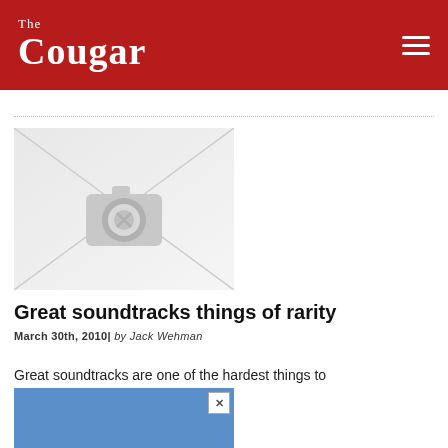The Cougar
[Figure (photo): Placeholder image with camera icon (no image available)]
Great soundtracks things of rarity
March 30th, 2010| by Jack Wehman
Great soundtracks are one of the hardest things to
[Figure (other): Blue advertisement banner with close button]